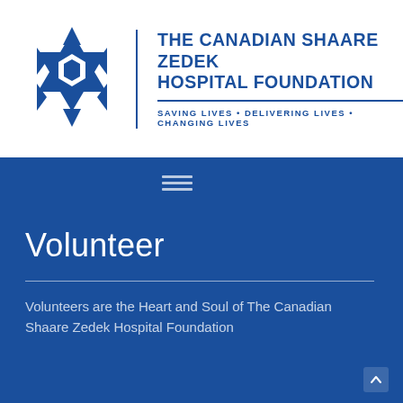[Figure (logo): The Canadian Shaare Zedek Hospital Foundation logo: a blue Star of David / geometric star shape on the left, a vertical dividing line, then the organization name and tagline on the right]
THE CANADIAN SHAARE ZEDEK HOSPITAL FOUNDATION
SAVING LIVES • DELIVERING LIVES • CHANGING LIVES
Volunteer
Volunteers are the Heart and Soul of The Canadian Shaare Zedek Hospital Foundation